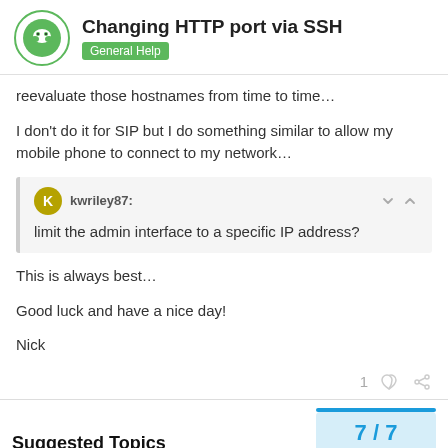Changing HTTP port via SSH — General Help
reevaluate those hostnames from time to time…
I don't do it for SIP but I do something similar to allow my mobile phone to connect to my network…
kwriley87: limit the admin interface to a specific IP address?
This is always best…
Good luck and have a nice day!
Nick
Suggested Topics
7 / 7